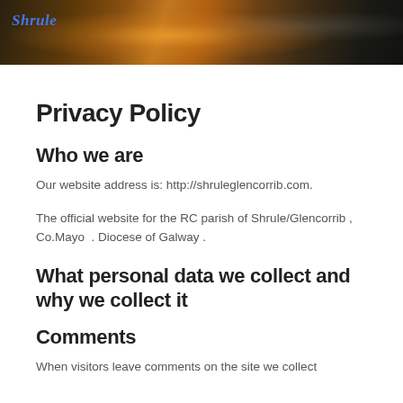[Figure (photo): Website header banner image showing a church/restaurant interior with warm lighting and candles. Blue italic 'Shrule' logo text on the left.]
Privacy Policy
Who we are
Our website address is: http://shruleglencorrib.com.
The official website for the RC parish of Shrule/Glencorrib , Co.Mayo  . Diocese of Galway .
What personal data we collect and why we collect it
Comments
When visitors leave comments on the site we collect